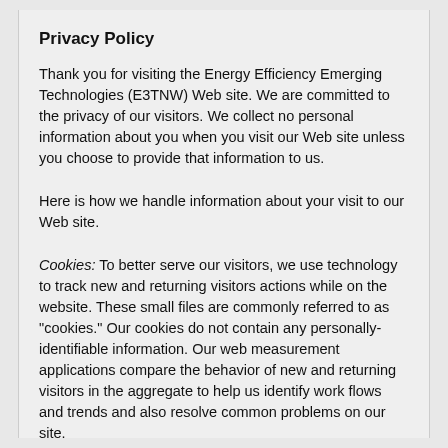Privacy Policy
Thank you for visiting the Energy Efficiency Emerging Technologies (E3TNW) Web site. We are committed to the privacy of our visitors. We collect no personal information about you when you visit our Web site unless you choose to provide that information to us.
Here is how we handle information about your visit to our Web site.
Cookies: To better serve our visitors, we use technology to track new and returning visitors actions while on the website. These small files are commonly referred to as "cookies." Our cookies do not contain any personally-identifiable information. Our web measurement applications compare the behavior of new and returning visitors in the aggregate to help us identify work flows and trends and also resolve common problems on our site.